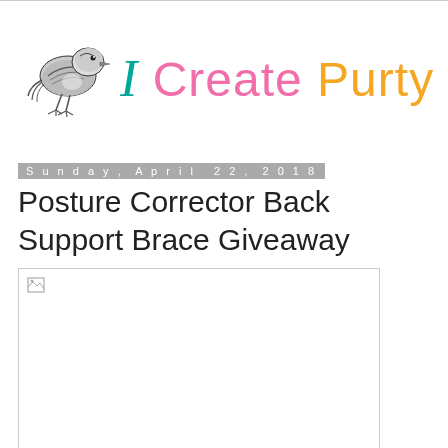[Figure (logo): Blog header with a black and white bird illustration and colorful hand-lettered text reading 'I Create Purty Thangs']
Sunday, April 22, 2018
Posture Corrector Back Support Brace Giveaway
[Figure (photo): Broken/missing image placeholder for a product photo]